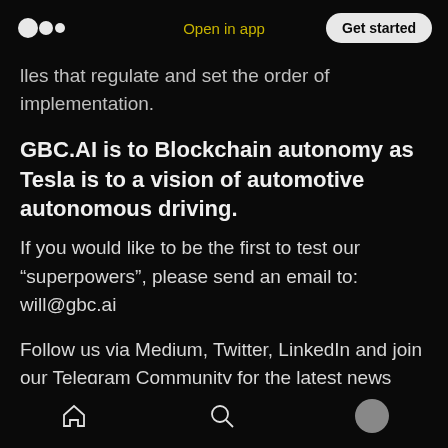Open in app | Get started
lles that regulate and set the order of implementation.
GBC.AI is to Blockchain autonomy as Tesla is to a vision of automotive autonomous driving.
If you would like to be the first to test our “superpowers”, please send an email to: will@gbc.ai
Follow us via Medium, Twitter, LinkedIn and join our Telegram Community for the latest news from GBC.AI and our simulation-as-a-service launch
Home | Search | Profile